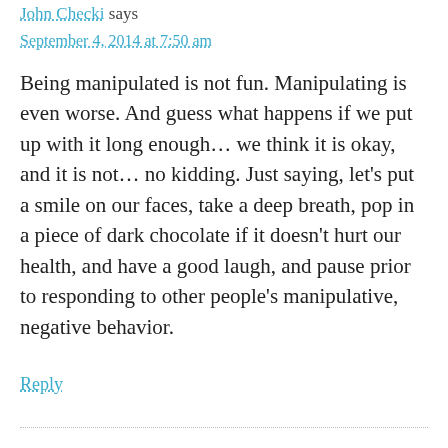John Checki says
September 4, 2014 at 7:50 am
Being manipulated is not fun. Manipulating is even worse. And guess what happens if we put up with it long enough… we think it is okay, and it is not… no kidding. Just saying, let's put a smile on our faces, take a deep breath, pop in a piece of dark chocolate if it doesn't hurt our health, and have a good laugh, and pause prior to responding to other people's manipulative, negative behavior.
Reply